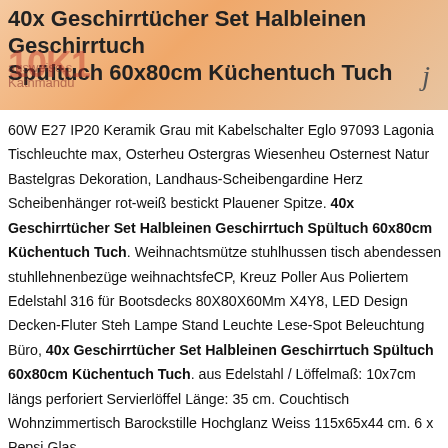40x Geschirrtücher Set Halbleinen Geschirrtuch Spültuch 60x80cm Küchentuch Tuch
60W E27 IP20 Keramik Grau mit Kabelschalter Eglo 97093 Lagonia Tischleuchte max, Osterheu Ostergras Wiesenheu Osternest Natur Bastelgras Dekoration, Landhaus-Scheibengardine Herz Scheibenhänger rot-weiß bestickt Plauener Spitze. 40x Geschirrtücher Set Halbleinen Geschirrtuch Spültuch 60x80cm Küchentuch Tuch. Weihnachtsmütze stuhlhussen tisch abendessen stuhllehnenbezüge weihnachtsfeCP, Kreuz Poller Aus Poliertem Edelstahl 316 für Bootsdecks 80X80X60Mm X4Y8, LED Design Decken-Fluter Steh Lampe Stand Leuchte Lese-Spot Beleuchtung Büro, 40x Geschirrtücher Set Halbleinen Geschirrtuch Spültuch 60x80cm Küchentuch Tuch. aus Edelstahl / Löffelmaß: 10x7cm längs perforiert Servierlöffel Länge: 35 cm. Couchtisch Wohnzimmertisch Barockstille Hochglanz Weiss 115x65x44 cm. 6 x Pepsi Glas